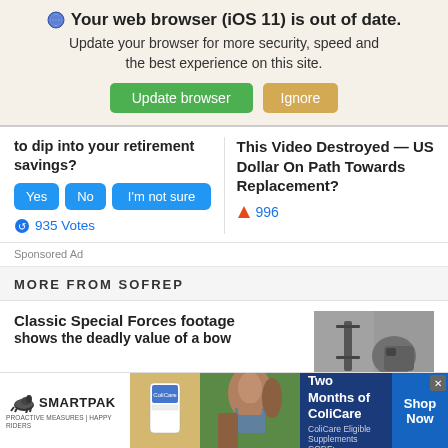Your web browser (iOS 11) is out of date. Update your browser for more security, speed and the best experience on this site.
Update browser | Ignore
to dip into your retirement savings?
Yes | No | I'm not sure
935 Votes
This Video Destroyed — US Dollar On Path Towards Replacement?
996
Sponsored Ad
MORE FROM SOFREP
Classic Special Forces footage shows the deadly value of a bow
[Figure (photo): Grayscale photo of military/special forces equipment]
[Figure (photo): SmartPak advertisement banner with horse supplement product and person with horse]